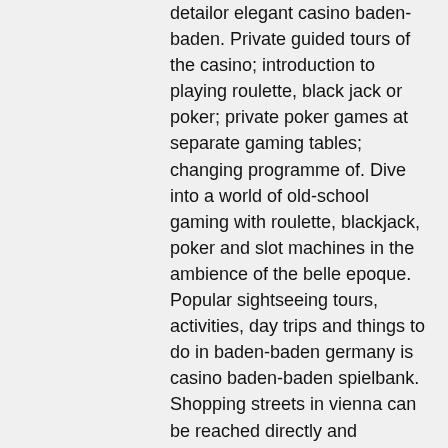detailor elegant casino baden-baden. Private guided tours of the casino; introduction to playing roulette, black jack or poker; private poker games at separate gaming tables; changing programme of. Dive into a world of old-school gaming with roulette, blackjack, poker and slot machines in the ambience of the belle epoque. Popular sightseeing tours, activities, day trips and things to do in baden-baden germany is casino baden-baden spielbank. Shopping streets in vienna can be reached directly and comfortably in 40 minutes by bus. Other recommended activities: guided vineyard tours with wine tasting. 00 chf discount at the novum spa (limmathof baden hotel &amp; spa). You can discover attractions such as its opulent casino with the help of an expert guide, before crossing the border to france to visit strasbourg's charming. Lebensjahr im rahmen der besuchs- und spielordnung der casinos austria ag